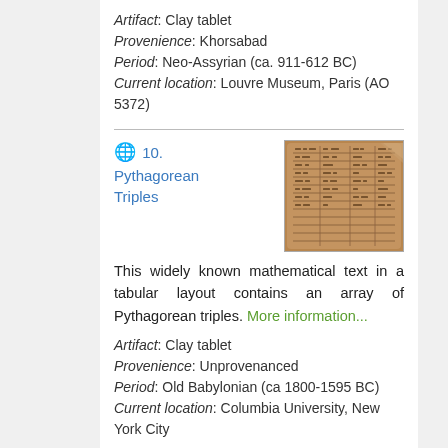Artifact: Clay tablet
Provenience: Khorsabad
Period: Neo-Assyrian (ca. 911-612 BC)
Current location: Louvre Museum, Paris (AO 5372)
10. Pythagorean Triples
[Figure (photo): Photo of a clay tablet with cuneiform inscriptions in a tabular layout, brownish-orange color, broken edges]
This widely known mathematical text in a tabular layout contains an array of Pythagorean triples. More information...
Artifact: Clay tablet
Provenience: Unprovenanced
Period: Old Babylonian (ca 1800-1595 BC)
Current location: Columbia University, New York City